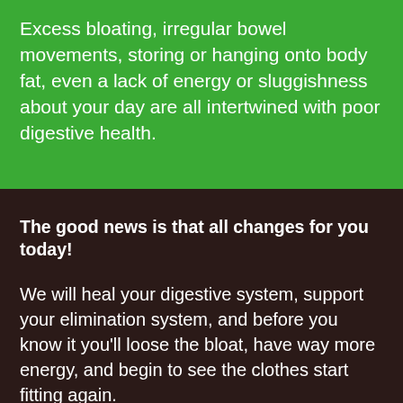Excess bloating, irregular bowel movements, storing or hanging onto body fat, even a lack of energy or sluggishness about your day are all intertwined with poor digestive health.
The good news is that all changes for you today!
We will heal your digestive system, support your elimination system, and before you know it you'll loose the bloat, have way more energy, and begin to see the clothes start fitting again.